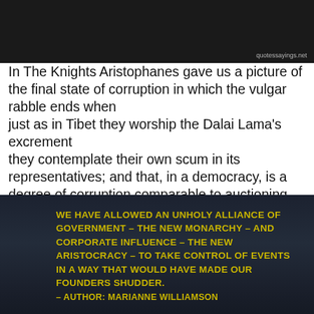[Figure (photo): Dark photograph background at top of page with watermark 'quotessayings.net' in bottom right corner]
In The Knights Aristophanes gave us a picture of the final state of corruption in which the vulgar rabble ends when
just as in Tibet they worship the Dalai Lama's excrement
they contemplate their own scum in its representatives; and that, in a democracy, is a degree of corruption comparable to auctioning the crown in a monarchy. — Soren Kierkegaard
[Figure (photo): Dark background image with yellow text quote: 'WE HAVE ALLOWED AN UNHOLY ALLIANCE OF GOVERNMENT – THE NEW MONARCHY – AND CORPORATE INFLUENCE – THE NEW ARISTOCRACY – TO TAKE CONTROL OF EVENTS IN A WAY THAT WOULD HAVE MADE OUR FOUNDERS SHUDDER.' attributed to AUTHOR: MARIANNE WILLIAMSON]